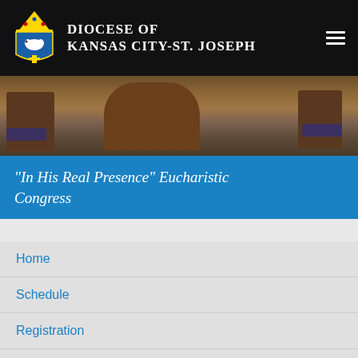DIOCESE OF KANSAS CITY-ST. JOSEPH
[Figure (photo): Church interior with wooden chairs/pews and blue cushions]
"In His Real Presence" Eucharistic Congress
Home
Schedule
Registration
Hotels